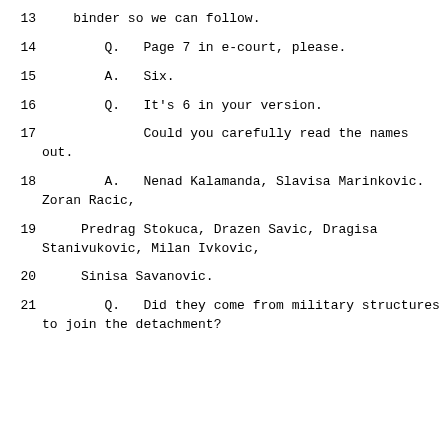13    binder so we can follow.
14         Q.   Page 7 in e-court, please.
15         A.   Six.
16         Q.   It's 6 in your version.
17              Could you carefully read the names out.
18         A.   Nenad Kalamanda, Slavisa Marinkovic. Zoran Racic,
19      Predrag Stokuca, Drazen Savic, Dragisa Stanivukovic, Milan Ivkovic,
20      Sinisa Savanovic.
21         Q.   Did they come from military structures to join the detachment?